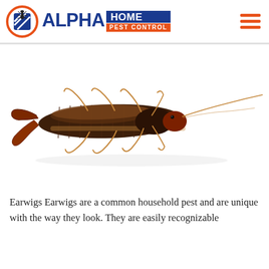ALPHA HOME PEST CONTROL
[Figure (photo): Close-up photograph of an earwig insect on a white background, showing its distinctive pincers (cerci) at the rear, segmented brown-black body, and long antennae]
Earwigs Earwigs are a common household pest and are unique with the way they look. They are easily recognizable